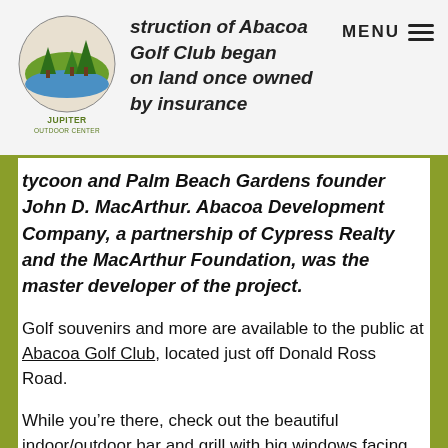construction of Abacoa Golf Club began on land once owned by insurance tycoon and Palm Beach Gardens founder John D. MacArthur. Abacoa Development Company, a partnership of Cypress Realty and the MacArthur Foundation, was the master developer of the project.
tycoon and Palm Beach Gardens founder John D. MacArthur. Abacoa Development Company, a partnership of Cypress Realty and the MacArthur Foundation, was the master developer of the project.
Golf souvenirs and more are available to the public at Abacoa Golf Club, located just off Donald Ross Road.
While you’re there, check out the beautiful indoor/outdoor bar and grill with big windows facing the 18-hole golf course.
By the way, Abacoa Golf Club is open to the public, a great outdoor Things To Do in Jupiter.